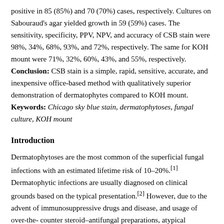positive in 85 (85%) and 70 (70%) cases, respectively. Cultures on Sabouraud's agar yielded growth in 59 (59%) cases. The sensitivity, specificity, PPV, NPV, and accuracy of CSB stain were 98%, 34%, 68%, 93%, and 72%, respectively. The same for KOH mount were 71%, 32%, 60%, 43%, and 55%, respectively. Conclusion: CSB stain is a simple, rapid, sensitive, accurate, and inexpensive office-based method with qualitatively superior demonstration of dermatophytes compared to KOH mount. Keywords: Chicago sky blue stain, dermatophytoses, fungal culture, KOH mount
Introduction
Dermatophytoses are the most common of the superficial fungal infections with an estimated lifetime risk of 10–20%.[1] Dermatophytic infections are usually diagnosed on clinical grounds based on the typical presentation.[2] However, due to the advent of immunosuppressive drugs and disease, and usage of over-the-counter steroid–antifungal preparations, atypical presentations are on the rise and it is increasingly becoming essential to seek laboratory aid to arrive at a confirmatory diagnosis.[3]
Traditionally, the benchmark for such a diagnosis has been potassium hydroxide (KOH)